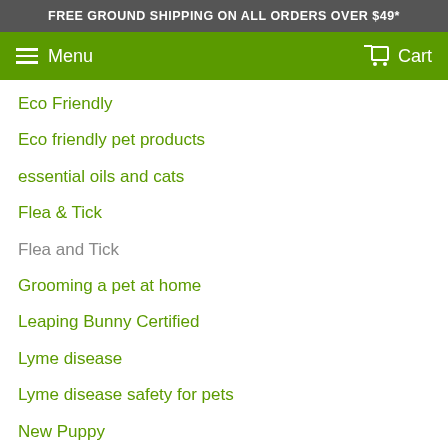FREE GROUND SHIPPING ON ALL ORDERS OVER $49*
Menu   Cart
Eco Friendly
Eco friendly pet products
essential oils and cats
Flea & Tick
Flea and Tick
Grooming a pet at home
Leaping Bunny Certified
Lyme disease
Lyme disease safety for pets
New Puppy
Paw Protection
Pet Dental
Pet Dental Month
Pet Essentials